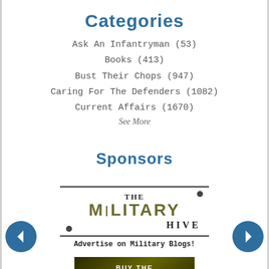Categories
Ask An Infantryman (53)
Books (413)
Bust Their Chops (947)
Caring For The Defenders (1082)
Current Affairs (1670)
See More
Sponsors
[Figure (logo): The Military Hive logo with text 'Advertise on Military Blogs!']
[Figure (illustration): Advertisement - BUY THE Right ...]